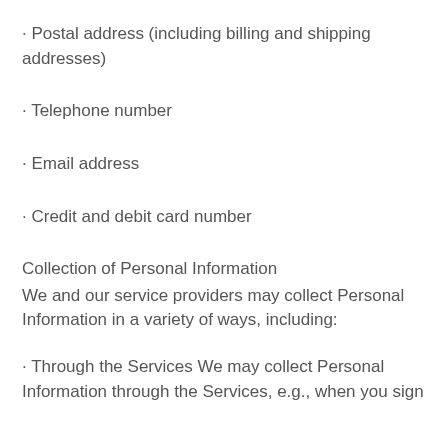· Postal address (including billing and shipping addresses)
· Telephone number
· Email address
· Credit and debit card number
Collection of Personal Information
We and our service providers may collect Personal Information in a variety of ways, including:
· Through the Services We may collect Personal Information through the Services, e.g., when you sign